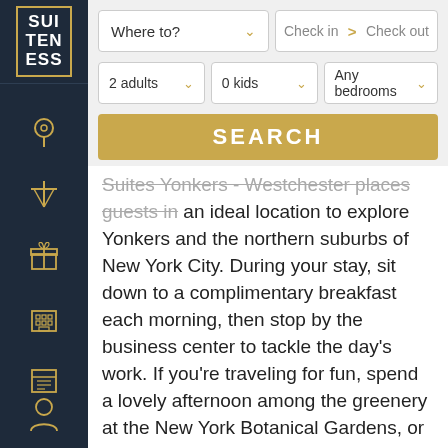[Figure (logo): Suiteness logo - white text SUI TEN ESS in a gold bordered box on dark navy background]
[Figure (screenshot): Search interface with Where to? dropdown, Check in and Check out date selectors, 2 adults, 0 kids, Any bedrooms dropdowns, and a SEARCH button]
Suites Yonkers - Westchester places guests in an ideal location to explore Yonkers and the northern suburbs of New York City. During your stay, sit down to a complimentary breakfast each morning, then stop by the business center to tackle the day's work. If you're traveling for fun, spend a lovely afternoon among the greenery at the New York Botanical Gardens, or visit the animals at the Bronx Zoo, just nine miles away. If you like to exercise while traveling, return to the hotel to work out in the fitness center, then cool off with a dip in the indoor pool. Come evening,